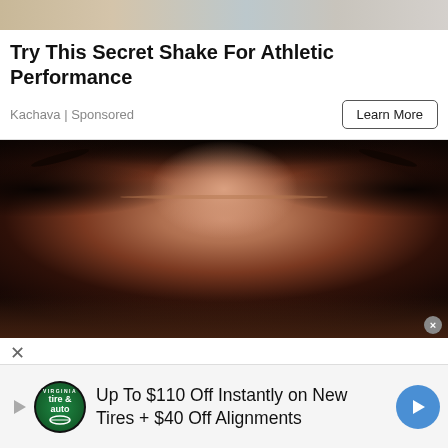[Figure (photo): Partial top image showing hands on a table or athletic scene, cropped at top]
Try This Secret Shake For Athletic Performance
Kachava | Sponsored
[Figure (photo): Close-up photo of a woman with dark wet hair, eyes closed, grimacing or in distress, with nose ring]
[Figure (infographic): Bottom banner ad: tire & auto logo, text 'Up To $110 Off Instantly on New Tires + $40 Off Alignments', blue arrow button]